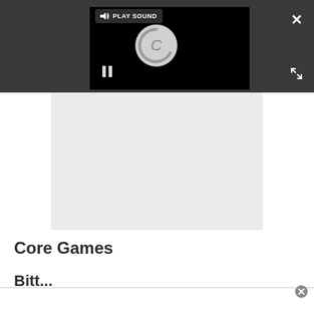[Figure (screenshot): Dark gray top bar with a video player (black box) showing a spinning/loading circle with pause bars. A 'PLAY SOUND' tooltip button with speaker icon appears at top left of video. A white X close button appears at top right of the bar. A fullscreen/expand icon appears at bottom right of bar.]
[Figure (screenshot): Light gray rectangular content area below the dark bar, representing an embedded media/video frame.]
Core Games
Bitt...
[Figure (screenshot): Bottom overlay bar with a close/dismiss circle icon on the right side.]